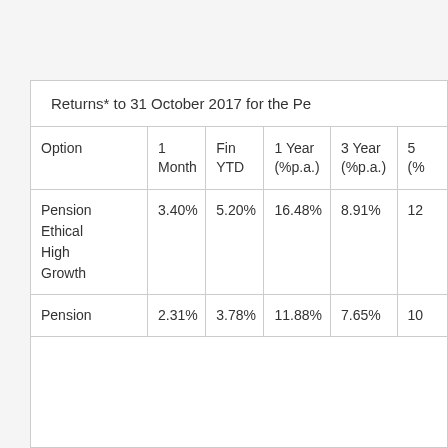| Option | 1 Month | Fin YTD | 1 Year (%p.a.) | 3 Year (%p.a.) | 5 (%) |
| --- | --- | --- | --- | --- | --- |
| Pension Ethical High Growth | 3.40% | 5.20% | 16.48% | 8.91% | 12… |
| Pension… | 2.31% | 3.78% | 11.88% | 7.65% | 10… |